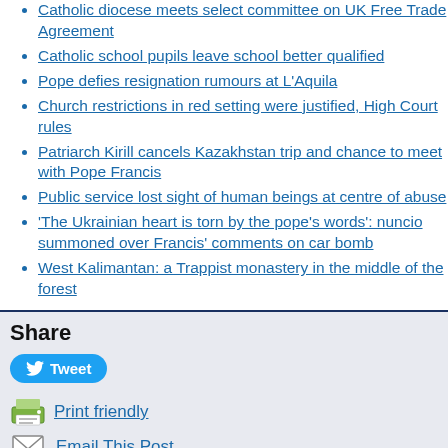Catholic diocese meets select committee on UK Free Trade Agreement
Catholic school pupils leave school better qualified
Pope defies resignation rumours at L'Aquila
Church restrictions in red setting were justified, High Court rules
Patriarch Kirill cancels Kazakhstan trip and chance to meet with Pope Francis
Public service lost sight of human beings at centre of abuse
'The Ukrainian heart is torn by the pope's words': nuncio summoned over Francis' comments on car bomb
West Kalimantan: a Trappist monastery in the middle of the forest
Share
Tweet
Print friendly
Email This Post